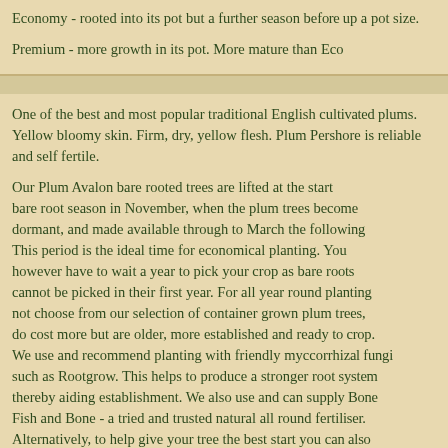Economy - rooted into its pot but a further season before up a pot size.
Premium - more growth in its pot. More mature than Eco...
One of the best and most popular traditional English cultivated plums. Yellow bloomy skin. Firm, dry, yellow flesh. Plum Pershore is reliable and self fertile.
Our Plum Avalon bare rooted trees are lifted at the start of bare root season in November, when the plum trees become dormant, and made available through to March the following year. This period is the ideal time for economical planting. You however have to wait a year to pick your crop as bare roots cannot be picked in their first year. For all year round planting not choose from our selection of container grown plum trees, do cost more but are older, more established and ready to crop. We use and recommend planting with friendly myccorrhizal fungi such as Rootgrow. This helps to produce a stronger root system thereby aiding establishment. We also use and can supply Bone Fish and Bone - a tried and trusted natural all round fertiliser. Alternatively, to help give your tree the best start you can also incorporate our carefully blended mix of compost to help give your tree all the vital nutrients and minerals it needs for your garden. It is good practice to firmly secure and stake...